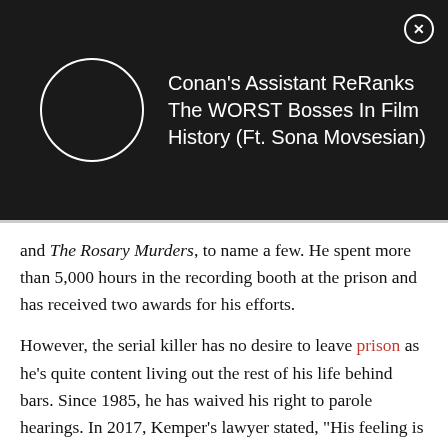[Figure (other): Dark ad banner with circular logo/thumbnail and text: Conan's Assistant ReRanks The WORST Bosses In Film History (Ft. Sona Movsesian), with a close (X) button]
and The Rosary Murders, to name a few. He spent more than 5,000 hours in the recording booth at the prison and has received two awards for his efforts.
However, the serial killer has no desire to leave prison as he's quite content living out the rest of his life behind bars. Since 1985, he has waived his right to parole hearings. In 2017, Kemper's lawyer stated, "His feeling is that—and this is his belief—no one's ever going to let him out, and he's just happy, he's just as happy going about his life in prison."
In his 70s, he will spend the rest of his days in prison and —at the time of writing—in relatively good health, Kemper